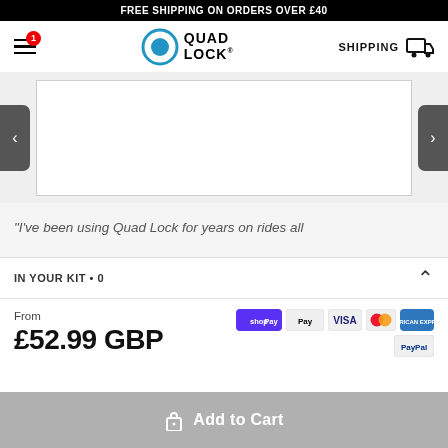FREE SHIPPING ON ORDERS OVER £40
[Figure (logo): Quad Lock logo with blue circular icon and QUAD LOCK text]
[Figure (screenshot): Product image carousel with left and right navigation arrows and white product image area]
"I've been using Quad Lock for years on rides all
IN YOUR KIT • 0
From
£52.99 GBP
[Figure (other): Payment icons: shopPay, Apple Pay, Visa, Mastercard, American Express, PayPal]
Add to Cart